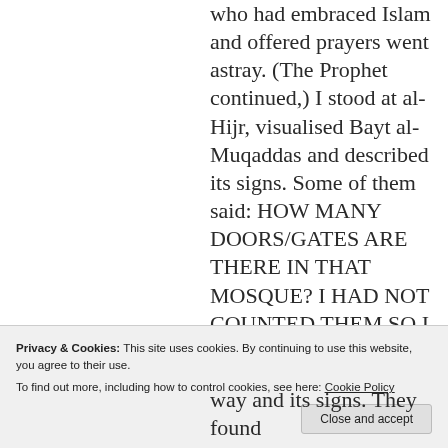who had embraced Islam and offered prayers went astray. (The Prophet continued,) I stood at al-Hijr, visualised Bayt al-Muqaddas and described its signs. Some of them said: HOW MANY DOORS/GATES ARE THERE IN THAT MOSQUE? I HAD NOT COUNTED THEM SO I BEGAN TO LOOK AT IT AND COUNTED THEM ONE BY ONE AND GAVE THEM
Privacy & Cookies: This site uses cookies. By continuing to use this website, you agree to their use.
To find out more, including how to control cookies, see here: Cookie Policy
way and its signs. They found